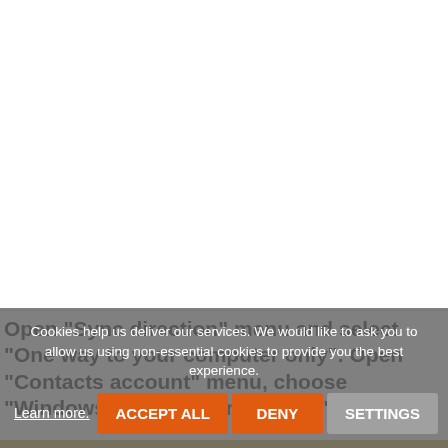[Figure (screenshot): White empty content area above the text, representing a web page screenshot background.]
Open "Sync direction" menu and select "One way to your computer only". Open "Contacts account" menu, choose "Windows contacts" and press "OK".
Cookies help us deliver our services. We would like to ask you to allow us using non-essential cookies to provide you the best experience.
Learn more. ACCEPT ALL DENY SETTINGS